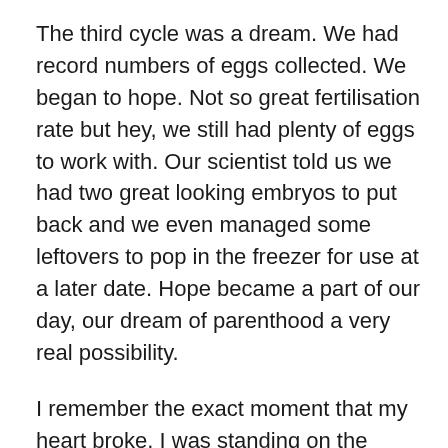The third cycle was a dream.  We had record numbers of eggs collected.  We began to hope.  Not so great fertilisation rate but hey, we still had plenty of eggs to work with.  Our scientist told us we had two great looking embryos to put back and we even managed some leftovers to pop in the freezer for use at a later date.  Hope became a part of our day, our dream of parenthood a very real possibility.
I remember the exact moment that my heart broke.  I was standing on the verandah, soaking up the sunshine when I felt the all too familiar cramping sensation in my gut.  Our hope disintegrated like the rusted machinery littering the farms on the outskirts of town.
Our three cycle limit quickly became four cycles. We said adios to our regional clinic and organised an appointment